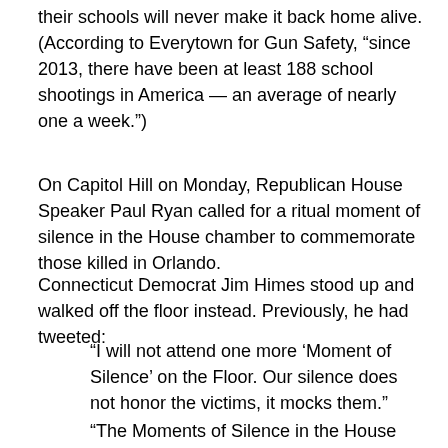their schools will never make it back home alive. (According to Everytown for Gun Safety, “since 2013, there have been at least 188 school shootings in America — an average of nearly one a week.”)
On Capitol Hill on Monday, Republican House Speaker Paul Ryan called for a ritual moment of silence in the House chamber to commemorate those killed in Orlando.
Connecticut Democrat Jim Himes stood up and walked off the floor instead. Previously, he had tweeted:
“I will not attend one more ‘Moment of Silence’ on the Floor. Our silence does not honor the victims, it mocks them.”
“The Moments of Silence in the House have become an abomination. God will ask you, ‘How did you keep